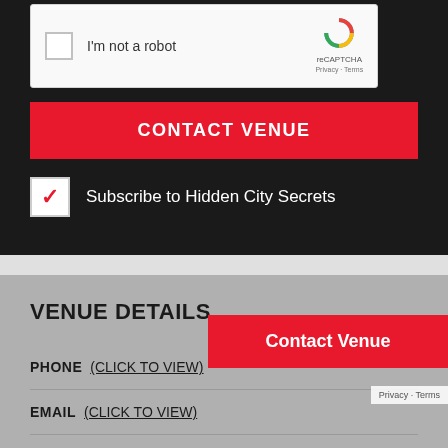[Figure (screenshot): reCAPTCHA widget with checkbox labeled 'I'm not a robot' and reCAPTCHA logo with Privacy - Terms text]
CONTACT VENUE
Subscribe to Hidden City Secrets
VENUE DETAILS
PHONE (CLICK TO VIEW)
EMAIL (CLICK TO VIEW)
WEBSITE (CLICK TO VIEW)
Contact Venue